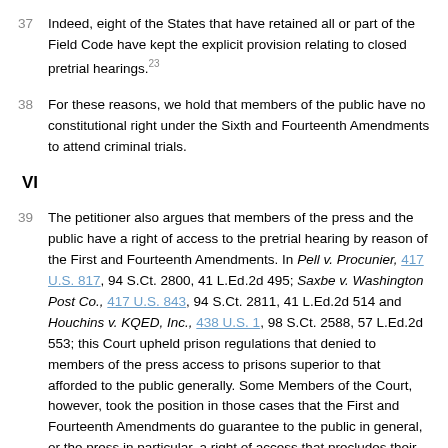37 Indeed, eight of the States that have retained all or part of the Field Code have kept the explicit provision relating to closed pretrial hearings.23
38 For these reasons, we hold that members of the public have no constitutional right under the Sixth and Fourteenth Amendments to attend criminal trials.
VI
39 The petitioner also argues that members of the press and the public have a right of access to the pretrial hearing by reason of the First and Fourteenth Amendments. In Pell v. Procunier, 417 U.S. 817, 94 S.Ct. 2800, 41 L.Ed.2d 495; Saxbe v. Washington Post Co., 417 U.S. 843, 94 S.Ct. 2811, 41 L.Ed.2d 514 and Houchins v. KQED, Inc., 438 U.S. 1, 98 S.Ct. 2588, 57 L.Ed.2d 553; this Court upheld prison regulations that denied to members of the press access to prisons superior to that afforded to the public generally. Some Members of the Court, however, took the position in those cases that the First and Fourteenth Amendments do guarantee to the public in general, or the press in particular, a right of access that precludes their complete exclusion in the absence of a significant